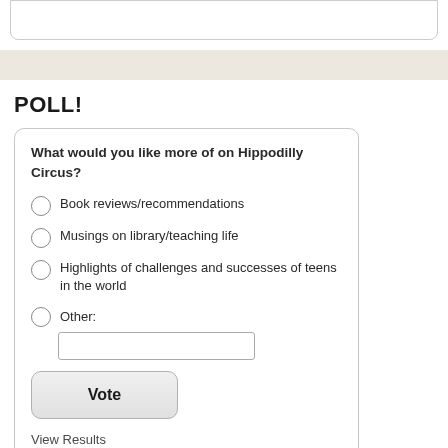POLL!
What would you like more of on Hippodilly Circus?
Book reviews/recommendations
Musings on library/teaching life
Highlights of challenges and successes of teens in the world
Other:
Vote
View Results
Crowdsignal.com